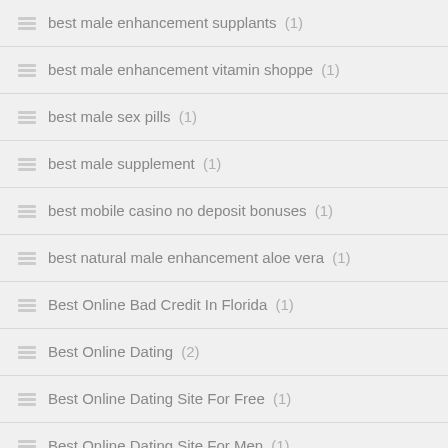best male enhancement supplants (1)
best male enhancement vitamin shoppe (1)
best male sex pills (1)
best male supplement (1)
best mobile casino no deposit bonuses (1)
best natural male enhancement aloe vera (1)
Best Online Bad Credit In Florida (1)
Best Online Dating (2)
Best Online Dating Site For Free (1)
Best Online Dating Site For Men (1)